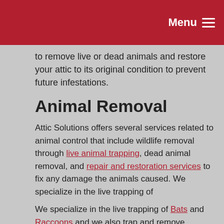Menu
to remove live or dead animals and restore your attic to its original condition to prevent future infestations.
Animal Removal
Attic Solutions offers several services related to animal control that include wildlife removal through live animal trapping, dead animal removal, and repair and restoration services to fix any damage the animals caused. We specialize in the live trapping of
We specialize in the live trapping of Bats and Raccoons and we also trap and remove Squirrels, Skunks, Birds, Groundhogs, Opossums, Rats and Mice, Chipmunks, Bees, and Wasps. We take pride in our ability to safely remove any animal and we never resort to using